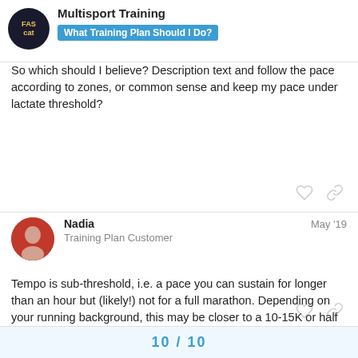Multisport Training — What Training Plan Should I Do?
So which should I believe? Description text and follow the pace according to zones, or common sense and keep my pace under lactate threshold?
Nadia   May '19
Training Plan Customer
Tempo is sub-threshold, i.e. a pace you can sustain for longer than an hour but (likely!) not for a full marathon. Depending on your running background, this may be closer to a 10-15K or half marathon pace.
10 / 10